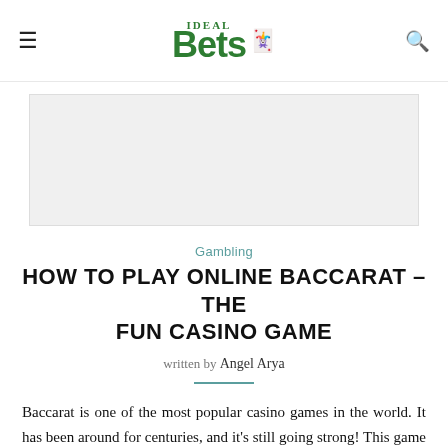Ideal Bets logo with hamburger menu and search icon
[Figure (other): Light grey banner/advertisement placeholder rectangle]
Gambling
HOW TO PLAY ONLINE BACCARAT – THE FUN CASINO GAME
written by Angel Arya
Baccarat is one of the most popular casino games in the world. It has been around for centuries, and it's still going strong! This game can be played at any live casino or online, so you don't have